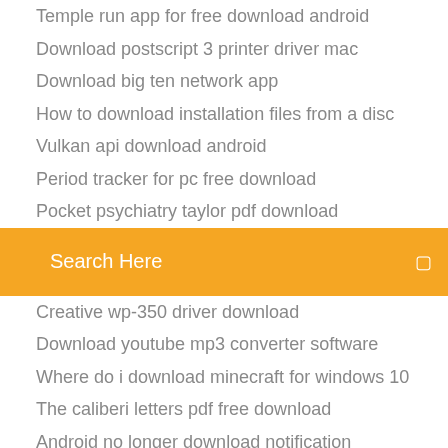Temple run app for free download android
Download postscript 3 printer driver mac
Download big ten network app
How to download installation files from a disc
Vulkan api download android
Period tracker for pc free download
Pocket psychiatry taylor pdf download
Search Here
Creative wp-350 driver download
Download youtube mp3 converter software
Where do i download minecraft for windows 10
The caliberi letters pdf free download
Android no longer download notification
Sandman conrad download pdf
Vulkan api download android
How to download workshop files from steam
Download android honeycomb image
Dge-530t rev-b2 driver download